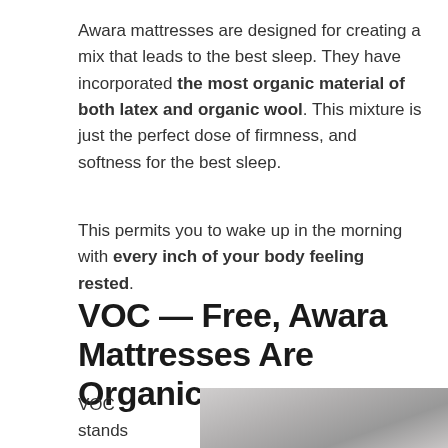Awara mattresses are designed for creating a mix that leads to the best sleep. They have incorporated the most organic material of both latex and organic wool. This mixture is just the perfect dose of firmness, and softness for the best sleep.
This permits you to wake up in the morning with every inch of your body feeling rested.
VOC — Free, Awara Mattresses Are Organic
VOC stands
[Figure (photo): Photo of a mattress surface, light gray fabric texture]